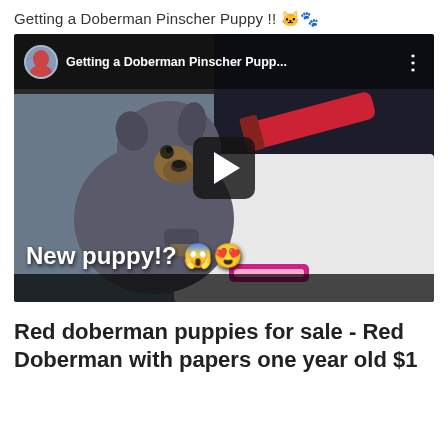Getting a Doberman Pinscher Puppy !! 🐱🐾
[Figure (screenshot): YouTube video thumbnail showing a gray Doberman Pinscher puppy sitting in a car, touching a red object, with white paper underneath. Text overlay reads 'New puppy!? 😱😍' with emoji. Video top bar shows avatar, title 'Getting a Doberman Pinscher Pupp...' and three-dot menu. Black play button in center.]
Red doberman puppies for sale - Red Doberman with papers one year old $1